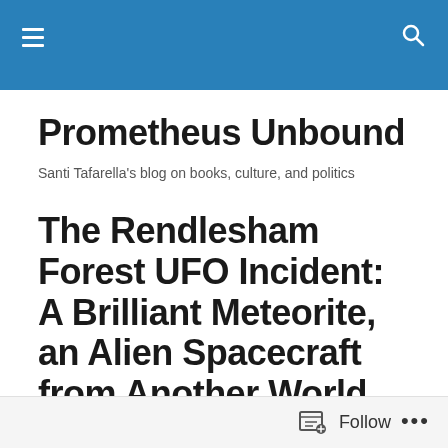Prometheus Unbound — site header navigation bar
Prometheus Unbound
Santi Tafarella's blog on books, culture, and politics
The Rendlesham Forest UFO Incident: A Brilliant Meteorite, an Alien Spacecraft from Another World, or Perhaps Something Else?
[Figure (other): Partially visible image placeholder at the bottom of the page]
Follow